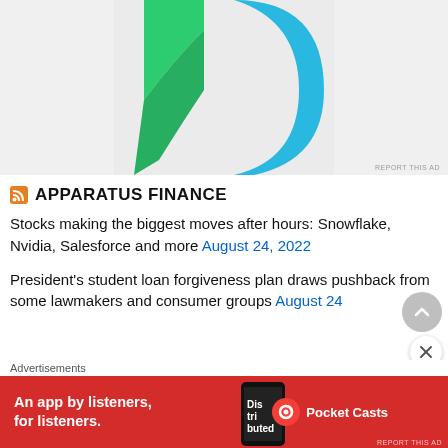[Figure (illustration): Abstract graphic with green and blue curved shapes on a light gray background. Top portion of an advertisement image.]
REPORT THIS AD
APPARATUS FINANCE
Stocks making the biggest moves after hours: Snowflake, Nvidia, Salesforce and more August 24, 2022
President's student loan forgiveness plan draws pushback from some lawmakers and consumer groups August 24
Advertisements
[Figure (illustration): Red advertisement banner for Pocket Casts app. Text reads: An app by listeners, for listeners. Pocket Casts logo on right, phone image in center.]
REPORT THIS AD